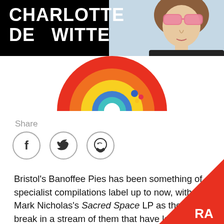CHARLOTTE DE WITTE
[Figure (photo): Colorful vinyl record artwork with red, orange, yellow, blue circles and dots, partially visible at top of page below header]
Share
[Figure (infographic): Three circular social media share buttons: Facebook (f), Twitter (bird), WhatsApp (speech bubble with phone)]
Bristol's Banoffee Pies has been something of a specialist compilations label up to now, with Mark Nicholas's Sacred Space LP as the only break in a stream of them that have largely collected jazzy deep house fare by the likes of Ruf Dug, Admin and Christian Jay. The "World Series" title has recently become associated with the EP series from Glasgow's Highlife crew, but where those records involved travelling to countries and working with local musicians, Ba
[Figure (logo): Resident Advisor logo (RA) white on red triangle in bottom-right corner]